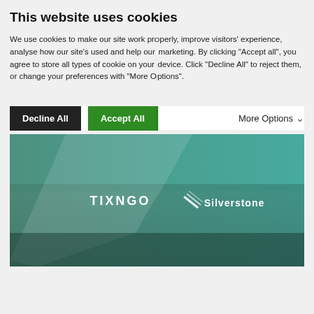This website uses cookies
We use cookies to make our site work properly, improve visitors' experience, analyse how our site's used and help our marketing. By clicking "Accept all", you agree to store all types of cookie on your device. Click "Decline All" to reject them, or change your preferences with "More Options".
[Figure (screenshot): Cookie consent banner with Decline All (black button) and Accept All (green button) and More Options (chevron) controls, above a hero image showing a motorsport venue with TIXNGO and Silverstone logos overlaid on a teal-tinted crowd photo.]